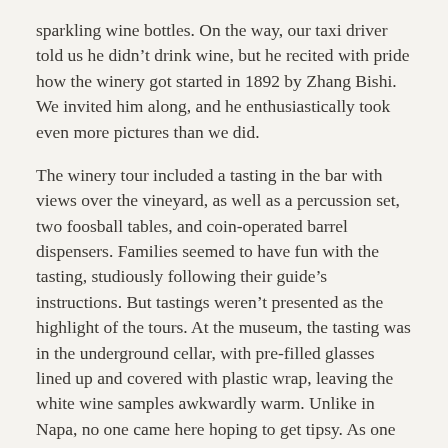sparkling wine bottles. On the way, our taxi driver told us he didn't drink wine, but he recited with pride how the winery got started in 1892 by Zhang Bishi. We invited him along, and he enthusiastically took even more pictures than we did.
The winery tour included a tasting in the bar with views over the vineyard, as well as a percussion set, two foosball tables, and coin-operated barrel dispensers. Families seemed to have fun with the tasting, studiously following their guide's instructions. But tastings weren't presented as the highlight of the tours. At the museum, the tasting was in the underground cellar, with pre-filled glasses lined up and covered with plastic wrap, leaving the white wine samples awkwardly warm. Unlike in Napa, no one came here hoping to get tipsy. As one Chinese expert told us when we asked about these tours, if the tasting is deemphasized, it's probably not the best part. We knew that Changyu wine had won international awards, so why did they serve underwhelming wines to visitors? These museums did a